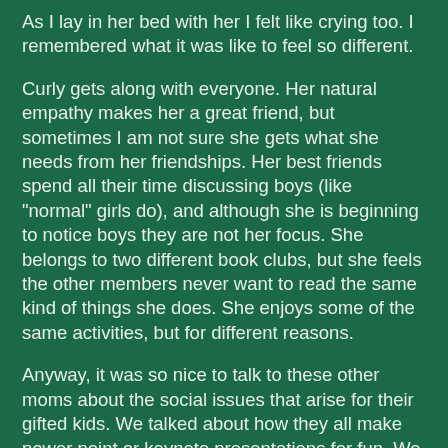As I lay in her bed with her I felt like crying too.  I remembered what it was like to feel so different.
Curly gets along with everyone.  Her natural empathy makes her a great friend, but sometimes I am not sure she gets what she needs from her friendships.  Her best friends spend all their time discussing boys (like "normal" girls do), and although she is beginning to notice boys they are not her focus.  She belongs to two different book clubs, but she feels the other members never want to read the same kind of things she does.  She enjoys some of the same activities, but for different reasons.
Anyway, it was so nice to talk to these other moms about the social issues that arise for their gifted kids.  We talked about how they all make power point or keynote presentations for fun.  We talked about the lists that litter their bedrooms.  We talked about how much more comfortable they seemed with adults.  We even talked about the strange collections they have.  It was so nice to know that there are others.  As it turns out Curly will be dancing with one of the other girls we were discussing, and I am so excited for her.  I know that she